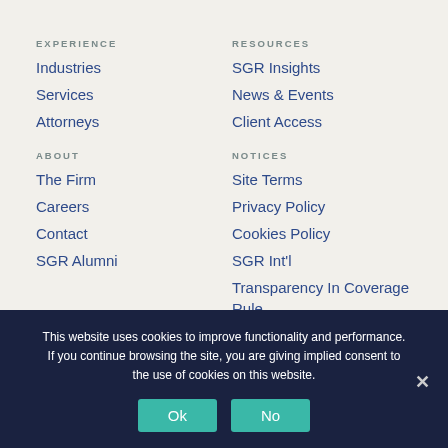EXPERIENCE
Industries
Services
Attorneys
ABOUT
The Firm
Careers
Contact
SGR Alumni
RESOURCES
SGR Insights
News & Events
Client Access
NOTICES
Site Terms
Privacy Policy
Cookies Policy
SGR Int'l
Transparency In Coverage Rule
This website uses cookies to improve functionality and performance. If you continue browsing the site, you are giving implied consent to the use of cookies on this website.